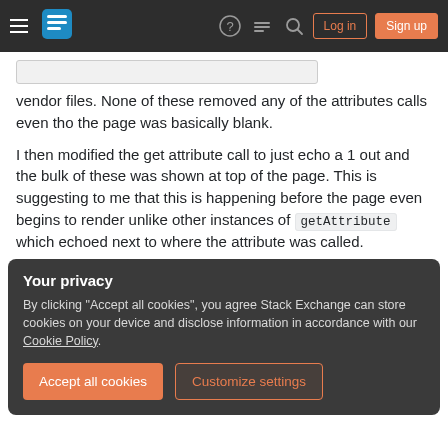Stack Exchange navigation bar with hamburger menu, logo, help, chat, search icons, Log in and Sign up buttons
vendor files. None of these removed any of the attributes calls even tho the page was basically blank.
I then modified the get attribute call to just echo a 1 out and the bulk of these was shown at top of the page. This is suggesting to me that this is happening before the page even begins to render unlike other instances of getAttribute which echoed next to where the attribute was called.
Your privacy
By clicking "Accept all cookies", you agree Stack Exchange can store cookies on your device and disclose information in accordance with our Cookie Policy.
Accept all cookies
Customize settings